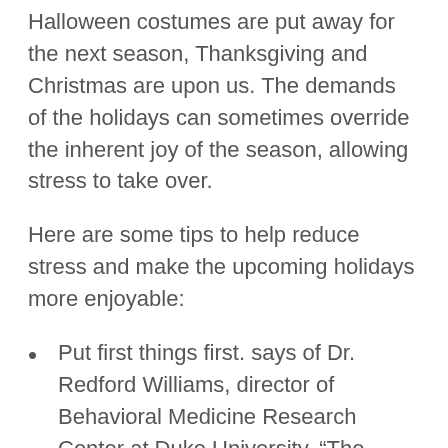Halloween costumes are put away for the next season, Thanksgiving and Christmas are upon us. The demands of the holidays can sometimes override the inherent joy of the season, allowing stress to take over.
Here are some tips to help reduce stress and make the upcoming holidays more enjoyable:
Put first things first. says of Dr. Redford Williams, director of Behavioral Medicine Research Center at Duke University, “The holidays are supposed to be about kindness and generosity, and people most often neglect extending these courtesies to those who need them